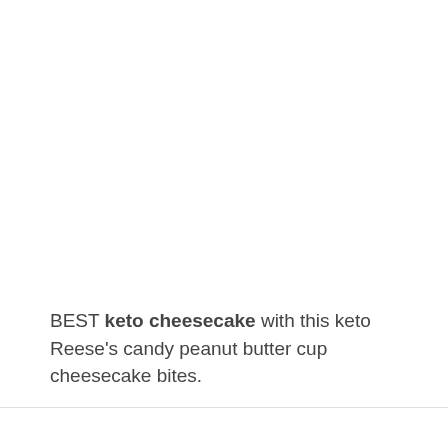BEST keto cheesecake with this keto Reese's candy peanut butter cup cheesecake bites.